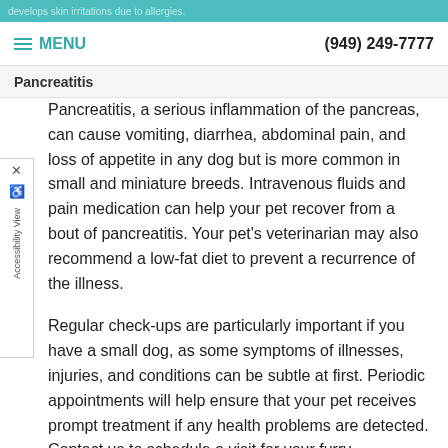develops skin irritations due to allergies.
MENU  (949) 249-7777
Pancreatitis
Pancreatitis, a serious inflammation of the pancreas, can cause vomiting, diarrhea, abdominal pain, and loss of appetite in any dog but is more common in small and miniature breeds. Intravenous fluids and pain medication can help your pet recover from a bout of pancreatitis. Your pet’s veterinarian may also recommend a low-fat diet to prevent a recurrence of the illness.
Regular check-ups are particularly important if you have a small dog, as some symptoms of illnesses, injuries, and conditions can be subtle at first. Periodic appointments will help ensure that your pet receives prompt treatment if any health problems are detected. Contact us to schedule a visit for your furry